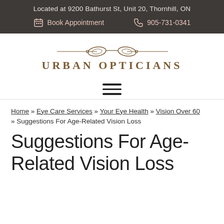Located at 9200 Bathurst St, Unit 20, Thornhill, ON
Book Appointment   905-731-0341
[Figure (logo): Urban Opticians logo with decorative eyeglasses graphic above the text URBAN OPTICIANS in brown serif capitals]
[Figure (other): Hamburger menu icon with three horizontal lines]
Home » Eye Care Services » Your Eye Health » Vision Over 60 » Suggestions For Age-Related Vision Loss
Suggestions For Age-Related Vision Loss